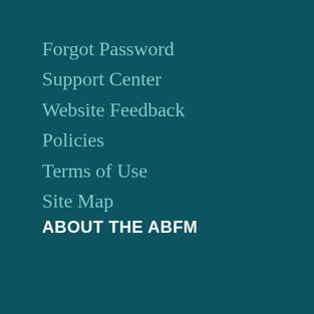Forgot Password
Support Center
Website Feedback
Policies
Terms of Use
Site Map
ABOUT THE ABFM